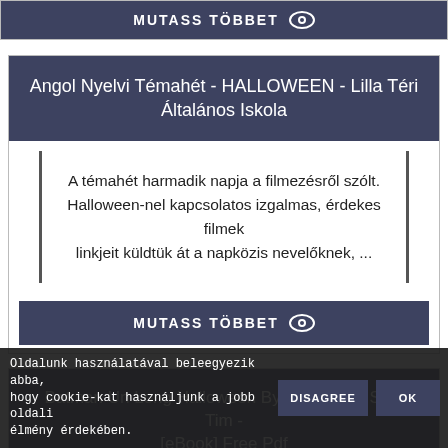MUTASS TÖBBET
Angol Nyelvi Témahét - HALLOWEEN - Lilla Téri Általános Iskola
A témahét harmadik napja a filmezésről szólt. Halloween-nel kapcsolatos izgalmas, érdekes filmek linkjeit küldtük át a napközis nevelőknek, ...
MUTASS TÖBBET
Batman Un Long Halloween By Loeb Jeph Sale Tim - [eBook] Free Pdf
Oldalunk használatával beleegyezik abba, hogy cookie-kat használjunk a jobb oldali élmény érdekében.